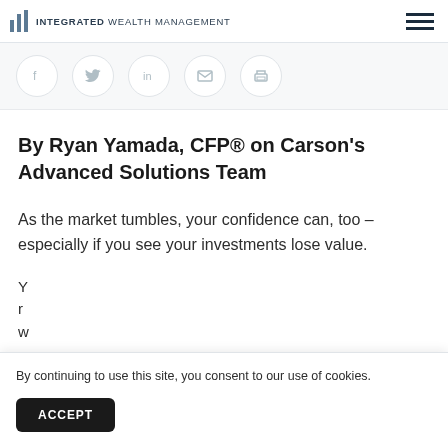INTEGRATED WEALTH MANAGEMENT
[Figure (infographic): Social sharing icons: Facebook, Twitter, LinkedIn, Email, Print]
By Ryan Yamada, CFP® on Carson's Advanced Solutions Team
As the market tumbles, your confidence can, too – especially if you see your investments lose value.
Y... r... w...
By continuing to use this site, you consent to our use of cookies.